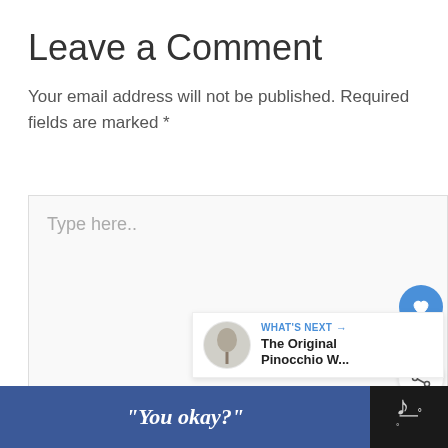Leave a Comment
Your email address will not be published. Required fields are marked *
[Figure (screenshot): Comment text input box with placeholder text 'Type here..' and social sharing buttons (heart/like button with count 5, share button) on the right side, plus a 'What's Next' widget showing 'The Original Pinocchio W...' with a circular illustration]
[Figure (screenshot): Bottom advertisement bar: blue Facebook-style ad with text '"You okay?"' and a dark bar on the right with a logo resembling 'W' with a degree symbol]